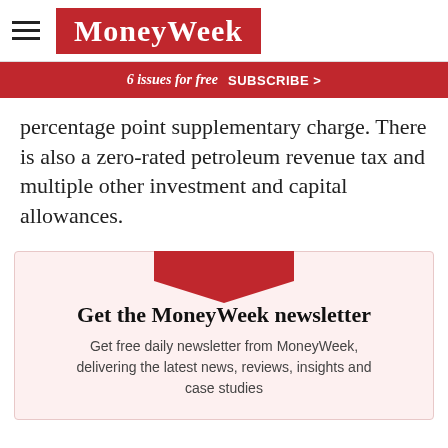MoneyWeek
6 issues for free  SUBSCRIBE >
percentage point supplementary charge. There is also a zero-rated petroleum revenue tax and multiple other investment and capital allowances.
[Figure (illustration): Red downward chevron/arrow shape above newsletter signup box]
Get the MoneyWeek newsletter
Get free daily newsletter from MoneyWeek, delivering the latest news, reviews, insights and case studies